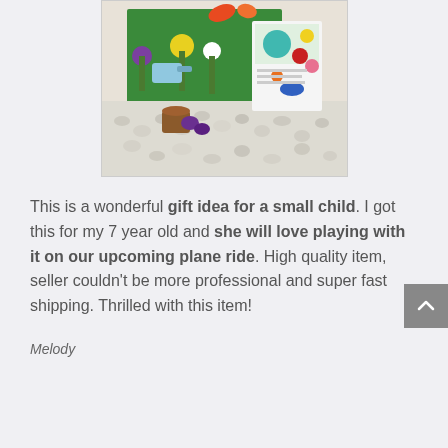[Figure (photo): A felt craft garden play set with colorful felt flowers, vegetables, butterflies, and gardening tools arranged on a white textured surface, with green felt board visible.]
This is a wonderful gift idea for a small child. I got this for my 7 year old and she will love playing with it on our upcoming plane ride. High quality item, seller couldn't be more professional and super fast shipping. Thrilled with this item!
Melody